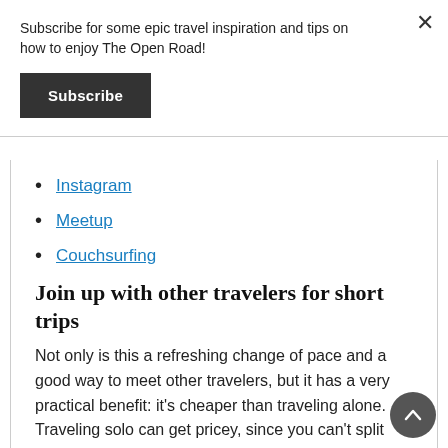Subscribe for some epic travel inspiration and tips on how to enjoy The Open Road!
Subscribe
Instagram
Meetup
Couchsurfing
Join up with other travelers for short trips
Not only is this a refreshing change of pace and a good way to meet other travelers, but it has a very practical benefit: it's cheaper than traveling alone. Traveling solo can get pricey, since you can't split transportation, accommodation, or